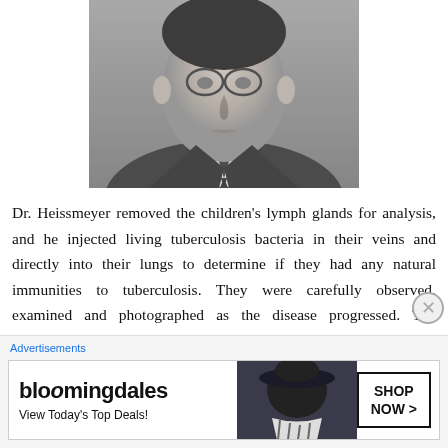[Figure (photo): Black and white portrait photograph of a man in a suit and tie, cropped at the shoulders/chest, wearing glasses]
Dr. Heissmeyer removed the children's lymph glands for analysis, and he injected living tuberculosis bacteria in their veins and directly into their lungs to determine if they had any natural immunities to tuberculosis. They were carefully observed, examined and photographed as the disease progressed. The condition of all the children
Advertisements
[Figure (other): Bloomingdale's advertisement: 'bloomingdales — View Today's Top Deals!' with image of woman in hat and 'SHOP NOW >' button]